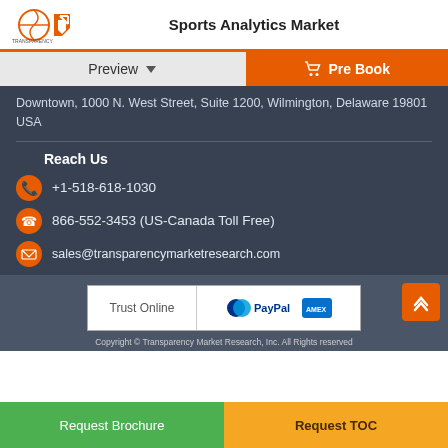Sports Analytics Market
Preview | Pre Book
Downtown, 1000 N. West Street, Suite 1200, Wilmington, Delaware 19801 USA
Reach Us
+1-518-618-1030
866-552-3453 (US-Canada Toll Free)
sales@transparencymarketresearch.com
Trust Online | PayPal [American Express]
Copyright © Transparency Market Research, Inc. All Rights reserved
Request Brochure | Request TOC